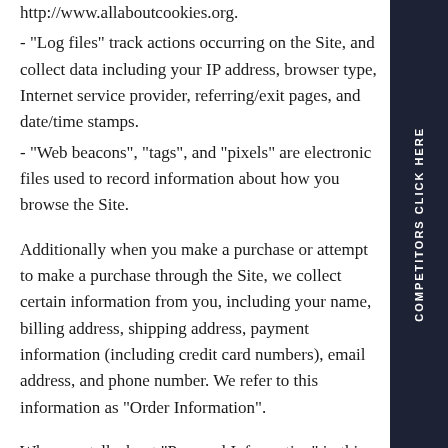http://www.allaboutcookies.org.
- “Log files” track actions occurring on the Site, and collect data including your IP address, browser type, Internet service provider, referring/exit pages, and date/time stamps.
- “Web beacons”, “tags”, and “pixels” are electronic files used to record information about how you browse the Site.
Additionally when you make a purchase or attempt to make a purchase through the Site, we collect certain information from you, including your name, billing address, shipping address, payment information (including credit card numbers), email address, and phone number. We refer to this information as “Order Information”.
When we talk about “Personal Information” in this